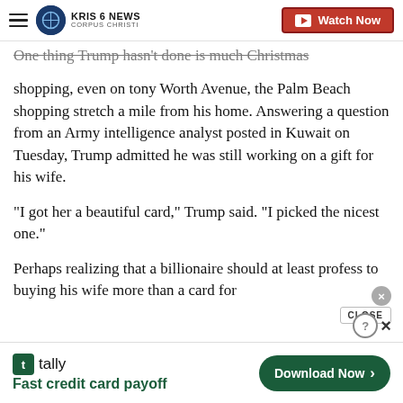KRIS 6 NEWS CORPUS CHRISTI | Watch Now
One thing Trump hasn't done is much Christmas shopping, even on tony Worth Avenue, the Palm Beach shopping stretch a mile from his home. Answering a question from an Army intelligence analyst posted in Kuwait on Tuesday, Trump admitted he was still working on a gift for his wife.
"I got her a beautiful card," Trump said. "I picked the nicest one."
Perhaps realizing that a billionaire should at least profess to buying his wife more than a card for Christmas, Trump stated that he had also got for
[Figure (screenshot): Tally advertisement banner: Fast credit card payoff | Download Now button]
tally — Fast credit card payoff | Download Now